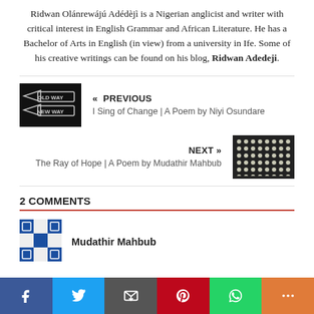Ridwan Olánrewájú Adédèjì is a Nigerian anglicist and writer with critical interest in English Grammar and African Literature. He has a Bachelor of Arts in English (in view) from a university in Ife. Some of his creative writings can be found on his blog, Ridwan Adedeji.
[Figure (photo): Black and white photo of road signs reading OLD WAY and NEW WAY]
« PREVIOUS
I Sing of Change | A Poem by Niyi Osundare
NEXT »
The Ray of Hope | A Poem by Mudathir Mahbub
[Figure (photo): Photo of lights arranged in a grid pattern on dark background]
2 COMMENTS
Mudathir Mahbub
[Figure (logo): Avatar icon with blue and white geometric pattern]
Social share bar: Facebook, Twitter, Email, Pinterest, WhatsApp, More